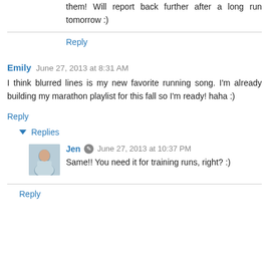Run 3 miles in them this morning and really liked them! Will report back further after a long run tomorrow :)
Reply
Emily  June 27, 2013 at 8:31 AM
I think blurred lines is my new favorite running song. I'm already building my marathon playlist for this fall so I'm ready! haha :)
Reply
Replies
[Figure (photo): Small avatar photo of a person wearing a light blue top]
Jen  June 27, 2013 at 10:37 PM
Same!! You need it for training runs, right? :)
Reply